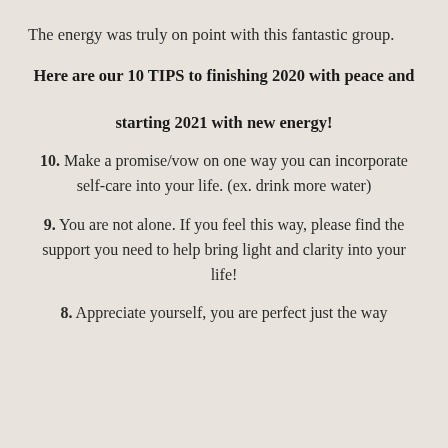The energy was truly on point with this fantastic group.
Here are our 10 TIPS to finishing 2020 with peace and starting 2021 with new energy!
10. Make a promise/vow on one way you can incorporate self-care into your life. (ex. drink more water)
9. You are not alone. If you feel this way, please find the support you need to help bring light and clarity into your life!
8. Appreciate yourself, you are perfect just the way